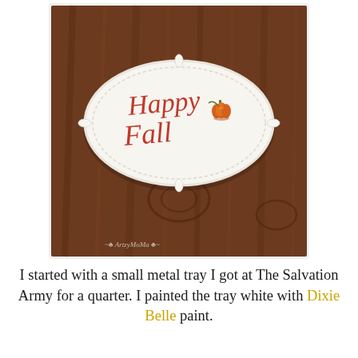[Figure (photo): A white oval metal tray with scalloped edges placed on a dark wood surface. The tray has 'Happy Fall' written in red cursive lettering with a small painted pumpkin illustration beside it. A watermark reads 'ArtzyMoMa' at the bottom.]
I started with a small metal tray I got at The Salvation Army for a quarter. I painted the tray white with Dixie Belle paint.